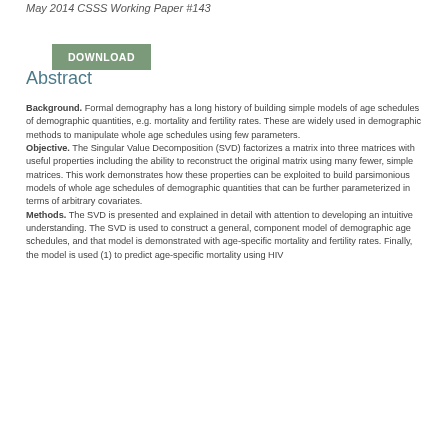May 2014 CSSS Working Paper #143
[Figure (other): Green DOWNLOAD button]
Abstract
Background. Formal demography has a long history of building simple models of age schedules of demographic quantities, e.g. mortality and fertility rates. These are widely used in demographic methods to manipulate whole age schedules using few parameters. Objective. The Singular Value Decomposition (SVD) factorizes a matrix into three matrices with useful properties including the ability to reconstruct the original matrix using many fewer, simple matrices. This work demonstrates how these properties can be exploited to build parsimonious models of whole age schedules of demographic quantities that can be further parameterized in terms of arbitrary covariates. Methods. The SVD is presented and explained in detail with attention to developing an intuitive understanding. The SVD is used to construct a general, component model of demographic age schedules, and that model is demonstrated with age-specific mortality and fertility rates. Finally, the model is used (1) to predict age-specific mortality using HIV